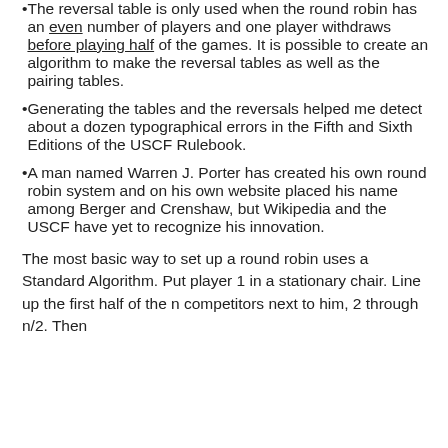The reversal table is only used when the round robin has an even number of players and one player withdraws before playing half of the games. It is possible to create an algorithm to make the reversal tables as well as the pairing tables.
Generating the tables and the reversals helped me detect about a dozen typographical errors in the Fifth and Sixth Editions of the USCF Rulebook.
A man named Warren J. Porter has created his own round robin system and on his own website placed his name among Berger and Crenshaw, but Wikipedia and the USCF have yet to recognize his innovation.
The most basic way to set up a round robin uses a Standard Algorithm. Put player 1 in a stationary chair. Line up the first half of the n competitors next to him, 2 through n/2. Then